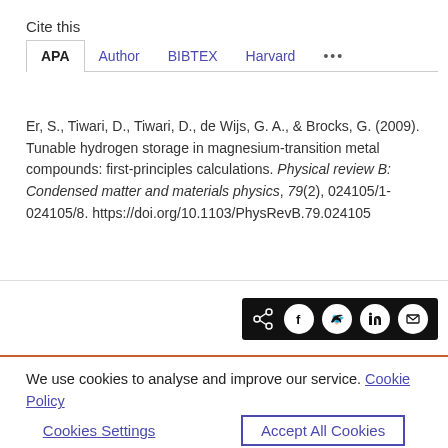Cite this
APA  Author  BIBTEX  Harvard  ...
Er, S., Tiwari, D., Tiwari, D., de Wijs, G. A., & Brocks, G. (2009). Tunable hydrogen storage in magnesium-transition metal compounds: first-principles calculations. Physical review B: Condensed matter and materials physics, 79(2), 024105/1-024105/8. https://doi.org/10.1103/PhysRevB.79.024105
[Figure (other): Social share bar with icons for share, Facebook, Twitter, LinkedIn, and email on black background]
We use cookies to analyse and improve our service. Cookie Policy
Cookies Settings    Accept All Cookies